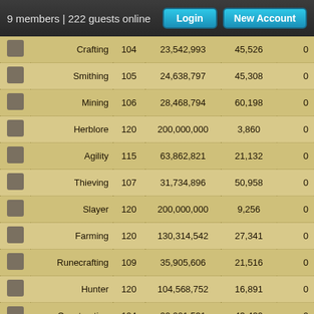9 members | 222 guests online
| Icon | Skill | Level | XP | Rank |  |
| --- | --- | --- | --- | --- | --- |
| [icon] | Crafting | 104 | 23,542,993 | 45,526 | 0 |
| [icon] | Smithing | 105 | 24,638,797 | 45,308 | 0 |
| [icon] | Mining | 106 | 28,468,794 | 60,198 | 0 |
| [icon] | Herblore | 120 | 200,000,000 | 3,860 | 0 |
| [icon] | Agility | 115 | 63,862,821 | 21,132 | 0 |
| [icon] | Thieving | 107 | 31,734,896 | 50,958 | 0 |
| [icon] | Slayer | 120 | 200,000,000 | 9,256 | 0 |
| [icon] | Farming | 120 | 130,314,542 | 27,341 | 0 |
| [icon] | Runecrafting | 109 | 35,905,606 | 21,516 | 0 |
| [icon] | Hunter | 120 | 104,568,752 | 16,891 | 0 |
| [icon] | Construction | 104 | 22,001,531 | 43,429 | 0 |
| [icon] | Summoning | 120 | 200,000,000 | 6,009 | 0 |
| [icon] | Dungeoneering | 120 | 181,115,834 | 13,889 | 0 |
| [icon] | Divination | 106 | 28,722,795 | 31,798 | 0 |
| [icon] | Invention | 120 | 200,000,000 | 16,597 | 0 |
| [icon] | Archaeology | 120 | 200,000,000 | 15,128 | 0 |